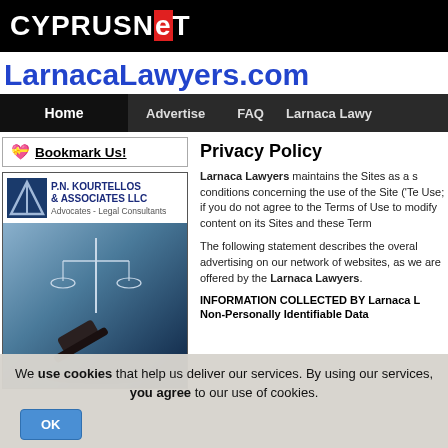CYPRUSNeT
LarnacaLawyers.com
Home | Advertise | FAQ | Larnaca Lawy
Bookmark Us!
[Figure (logo): P.N. Kourtellos & Associates LLC - Advocates Legal Consultants logo with scales of justice image]
Privacy Policy
Larnaca Lawyers maintains the Sites as a s conditions concerning the use of the Site ('Te Use; if you do not agree to the Terms of Use to modify content on its Sites and these Term
The following statement describes the overal advertising on our network of websites, as we are offered by the Larnaca Lawyers.
INFORMATION COLLECTED BY Larnaca L
Non-Personally Identifiable Data
We use cookies that help us deliver our services. By using our services, you agree to our use of cookies.